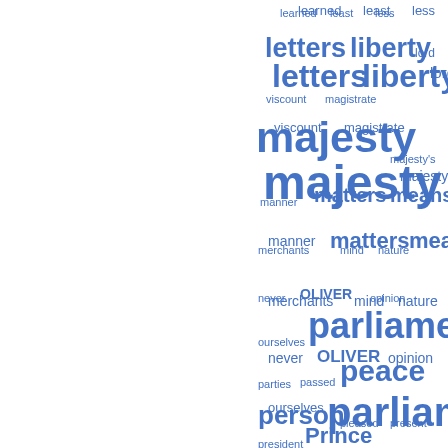[Figure (infographic): Word cloud in blue showing historical/political terms with varying font sizes indicating frequency. Words include: learned, least, less, letters, liberty, lord, viscount, magistrate, majesty, majesty's, manner, matters, means, merchants, mind, nature, never, OLIVER, opinion, ourselves, parliament, parties, passed, peace, person, pleased, present, president, Prince, Protector, protestant, prove, punishment, reason, received, reformation, religion, republic, Roman, scripture, senate, sent, Serene, ship, side, subjects]